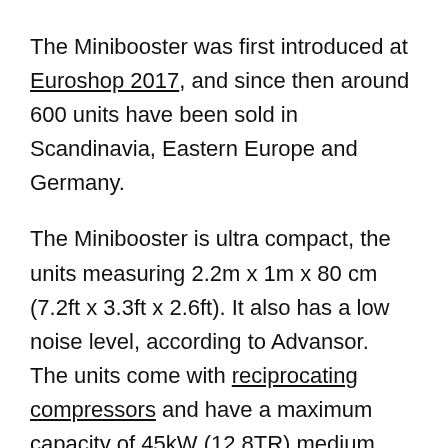The Minibooster was first introduced at Euroshop 2017, and since then around 600 units have been sold in Scandinavia, Eastern Europe and Germany.
The Minibooster is ultra compact, the units measuring 2.2m x 1m x 80 cm (7.2ft x 3.3ft x 2.6ft). It also has a low noise level, according to Advansor. The units come with reciprocating compressors and have a maximum capacity of 45kW (12.8TR) medium temperature and 11kW (3.1TR) low temperature. They operate with a 120 bar pressure.
The Tower was originally developed in collaboration with German retail giant, Aldi, based on Aldi's